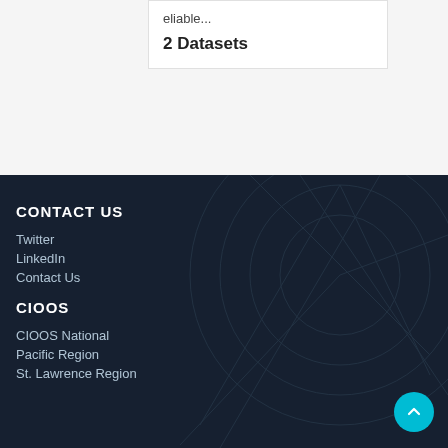eliable...
2 Datasets
CONTACT US
Twitter
LinkedIn
Contact Us
CIOOS
CIOOS National
Pacific Region
St. Lawrence Region